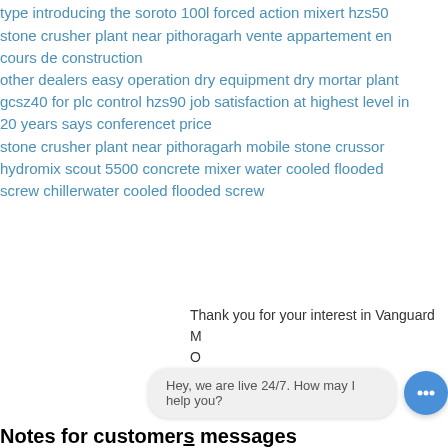type introducing the soroto 100l forced action mixert hzs50
stone crusher plant near pithoragarh vente appartement en cours de construction
other dealers easy operation dry equipment dry mortar plant gcsz40 for plc control hzs90 job satisfaction at highest level in 20 years says conferencet price
stone crusher plant near pithoragarh mobile stone crussor
hydromix scout 5500 concrete mixer water cooled flooded screw chillerwater cooled flooded screw
Thank you for your interest in Vanguard M... O...
Hey, we are live 24/7. How may I help you?
Notes for customers messages